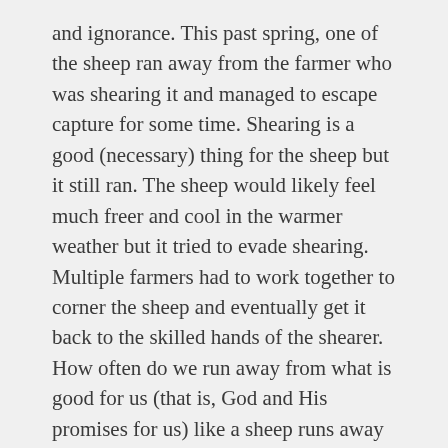and ignorance. This past spring, one of the sheep ran away from the farmer who was shearing it and managed to escape capture for some time. Shearing is a good (necessary) thing for the sheep but it still ran. The sheep would likely feel much freer and cool in the warmer weather but it tried to evade shearing. Multiple farmers had to work together to corner the sheep and eventually get it back to the skilled hands of the shearer. How often do we run away from what is good for us (that is, God and His promises for us) like a sheep runs away from a shearer? I know my answer: more times than I can count.
Thankfully, the Good Shepherd is one who does not abandon his wayward sheep. In the words of David, shepherd boy later turned king, the Lord is a shepherd who cares for all needs, leads in all good ways, and seeks